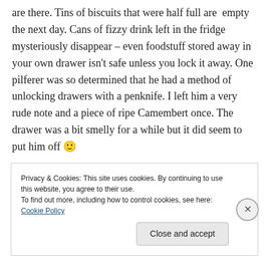are there. Tins of biscuits that were half full are empty the next day. Cans of fizzy drink left in the fridge mysteriously disappear – even foodstuff stored away in your own drawer isn't safe unless you lock it away. One pilferer was so determined that he had a method of unlocking drawers with a penknife. I left him a very rude note and a piece of ripe Camembert once. The drawer was a bit smelly for a while but it did seem to put him off 🙂
Privacy & Cookies: This site uses cookies. By continuing to use this website, you agree to their use.
To find out more, including how to control cookies, see here: Cookie Policy